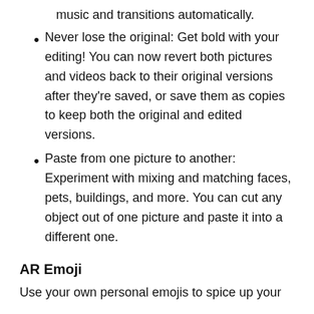music and transitions automatically.
Never lose the original: Get bold with your editing! You can now revert both pictures and videos back to their original versions after they're saved, or save them as copies to keep both the original and edited versions.
Paste from one picture to another: Experiment with mixing and matching faces, pets, buildings, and more. You can cut any object out of one picture and paste it into a different one.
AR Emoji
Use your own personal emojis to spice up your